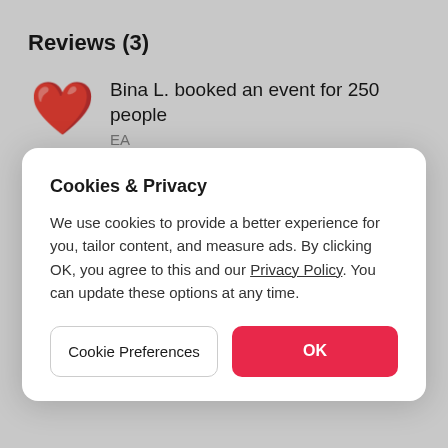Reviews (3)
Bina L. booked an event for 250 people
EA
★★★★★  ✓ Yes, I would book again.
Cookies & Privacy
We use cookies to provide a better experience for you, tailor content, and measure ads. By clicking OK, you agree to this and our Privacy Policy. You can update these options at any time.
Cookie Preferences
OK